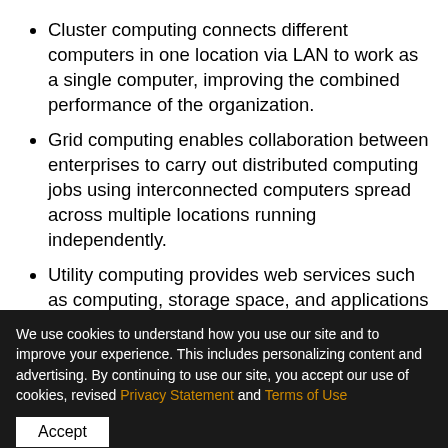Cluster computing connects different computers in one location via LAN to work as a single computer, improving the combined performance of the organization.
Grid computing enables collaboration between enterprises to carry out distributed computing jobs using interconnected computers spread across multiple locations running independently.
Utility computing provides web services such as computing, storage space, and applications to users at a low cost through the virtualization of several backend servers.
Distributed computing...
We use cookies to understand how you use our site and to improve your experience. This includes personalizing content and advertising. By continuing to use our site, you accept our use of cookies, revised Privacy Statement and Terms of Use
Accept